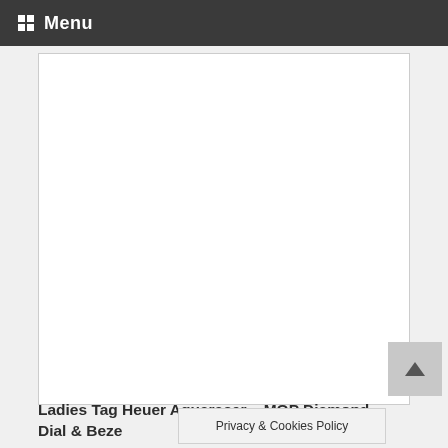Menu
[Figure (photo): White blank image placeholder area with light border]
Ladies Tag Heuer Aquaracer CAT1453 – MOP Diamond Dial & Beze
Privacy & Cookies Policy